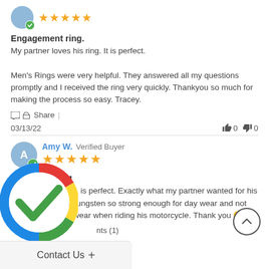[Figure (other): Reviewer avatar circle (blue/gray) with green verified checkmark badge and 5 gold stars]
Engagement ring.
My partner loves his ring. It is perfect.

Men's Rings were very helpful. They answered all my questions promptly and I received the ring very quickly. Thankyou so much for making the process so easy. Tracey.
Share |
03/13/22    👍 0  👎 0
Amy W. Verified Buyer
[Figure (other): Reviewer avatar circle with letter A (blue/gray) with green verified checkmark badge and 5 gold stars]
Awesome ring
It is perfect. Exactly what my partner wanted for his band. Made from tungsten so strong enough for day wear and not too big for him to wear when riding his motorcycle. Thank you 😊
Comments (1)
[Figure (logo): Google colored circle checkmark overlay logo]
Contact Us +